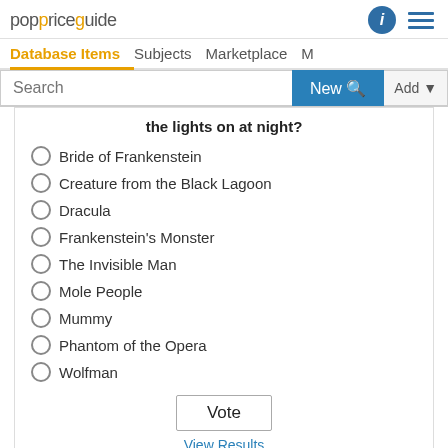poppriceguide — Database Items  Subjects  Marketplace  M
Search  New  Add
the lights on at night?
Bride of Frankenstein
Creature from the Black Lagoon
Dracula
Frankenstein's Monster
The Invisible Man
Mole People
Mummy
Phantom of the Opera
Wolfman
Vote
View Results